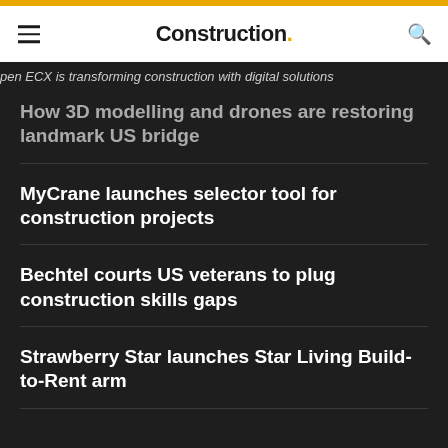Construction.
pen ECX is transforming construction with digital solutions
How 3D modelling and drones are restoring landmark US bridge
MyCrane launches selector tool for construction projects
Bechtel courts US veterans to plug construction skills gaps
Strawberry Star launches Star Living Build-to-Rent arm